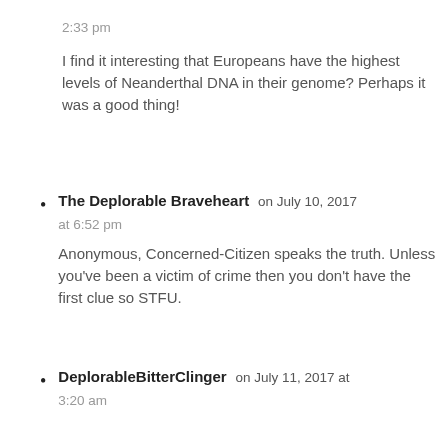2:33 pm
I find it interesting that Europeans have the highest levels of Neanderthal DNA in their genome? Perhaps it was a good thing!
The Deplorable Braveheart on July 10, 2017 at 6:52 pm
Anonymous, Concerned-Citizen speaks the truth. Unless you've been a victim of crime then you don't have the first clue so STFU.
DeplorableBitterClinger on July 11, 2017 at 3:20 am